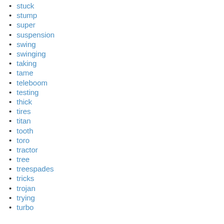stuck
stump
super
suspension
swing
swinging
taking
tame
teleboom
testing
thick
tires
titan
tooth
toro
tractor
tree
treespades
tricks
trojan
trying
turbo